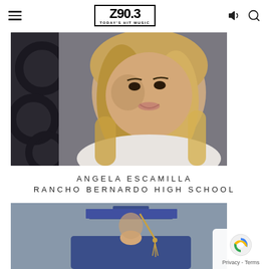Z90.3 TODAY'S HIT MUSIC
[Figure (photo): Portrait photo of a young woman with long blonde-highlighted hair, smiling, wearing a white top, posed against a dark decorative iron background.]
ANGELA ESCAMILLA
RANCHO BERNARDO HIGH SCHOOL
[Figure (photo): Partial photo of a person wearing a blue graduation cap and gown, with a tassel visible.]